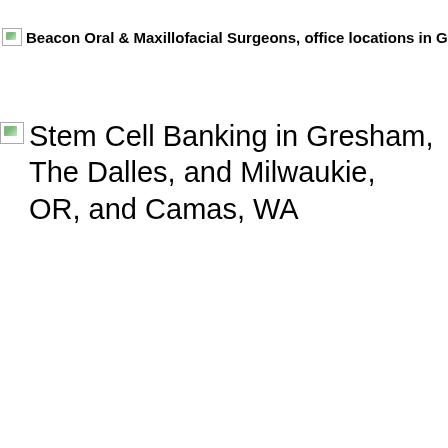Beacon Oral & Maxillofacial Surgeons, office locations in Gres...
Stem Cell Banking in Gresham, The Dalles, and Milwaukie, OR, and Camas, WA